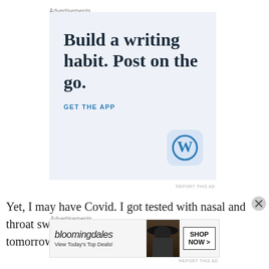Advertisements
[Figure (screenshot): WordPress app advertisement. Large serif headline text: 'Build a writing habit. Post on the go.' with 'GET THE APP' CTA link and WordPress app icon on light blue background.]
REPORT THIS AD
Yet, I may have Covid. I got tested with nasal and throat swabs two days ago. I get the results tomorrow or the next
Advertisements
[Figure (screenshot): Bloomingdale's advertisement banner. Shows 'bloomingdales' logo, 'View Today's Top Deals!' text, photo of woman with large hat, and 'SHOP NOW >' button.]